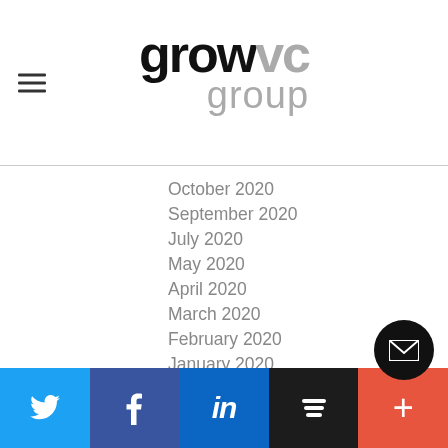growvc group logo and navigation
October 2020
September 2020
July 2020
May 2020
April 2020
March 2020
February 2020
January 2020
December 2019
November 2019
October 2019
September 2019
August 2019
July 2019
June 2019
Twitter | Facebook | LinkedIn | Buffer | More